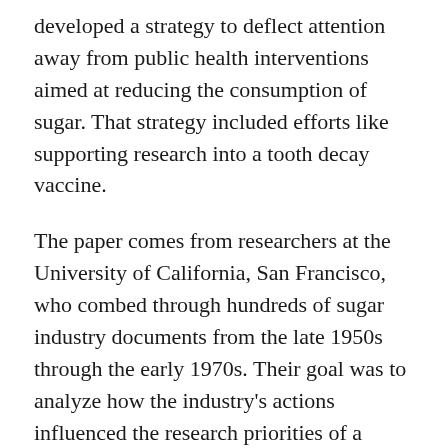developed a strategy to deflect attention away from public health interventions aimed at reducing the consumption of sugar. That strategy included efforts like supporting research into a tooth decay vaccine.
The paper comes from researchers at the University of California, San Francisco, who combed through hundreds of sugar industry documents from the late 1950s through the early 1970s. Their goal was to analyze how the industry's actions influenced the research priorities of a government-funded program to eradicate cavities and tooth decay, which was known as the National Caries Program.
For instance, in the late 1960s, the Sugar Research Foundation (the current Sugar Association evolved out of this industry group), along with the confectionery industry,